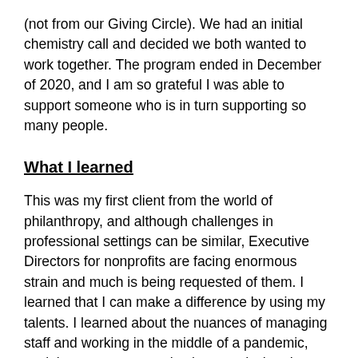(not from our Giving Circle). We had an initial chemistry call and decided we both wanted to work together. The program ended in December of 2020, and I am so grateful I was able to support someone who is in turn supporting so many people.
What I learned
This was my first client from the world of philanthropy, and although challenges in professional settings can be similar, Executive Directors for nonprofits are facing enormous strain and much is being requested of them. I learned that I can make a difference by using my talents. I learned about the nuances of managing staff and working in the middle of a pandemic, social unrest, census, elections, and what that means for our communities. I learned about the importance of self-care, and the positive